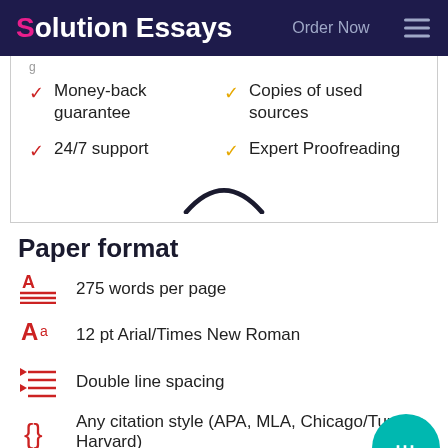Solution Essays  Order Now
Money-back guarantee
24/7 support
Copies of used sources
Expert Proofreading
Paper format
275 words per page
12 pt Arial/Times New Roman
Double line spacing
Any citation style (APA, MLA, Chicago/Turabian, Harvard)